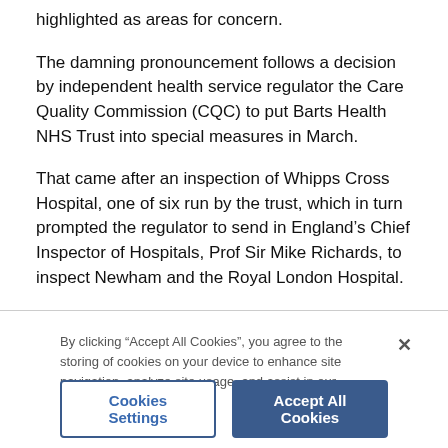highlighted as areas for concern.
The damning pronouncement follows a decision by independent health service regulator the Care Quality Commission (CQC) to put Barts Health NHS Trust into special measures in March.
That came after an inspection of Whipps Cross Hospital, one of six run by the trust, which in turn prompted the regulator to send in England's Chief Inspector of Hospitals, Prof Sir Mike Richards, to inspect Newham and the Royal London Hospital.
By clicking “Accept All Cookies”, you agree to the storing of cookies on your device to enhance site navigation, analyze site usage, and assist in our marketing efforts.